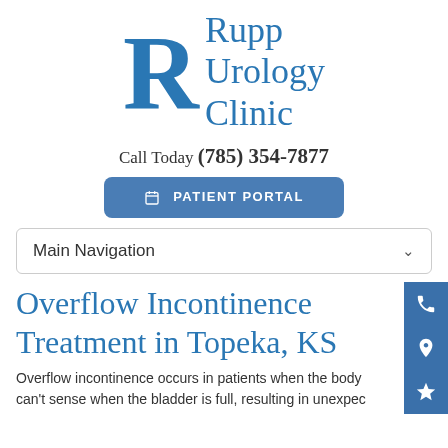[Figure (logo): Rupp Urology Clinic logo with large serif R and text 'Rupp Urology Clinic' in blue]
Call Today (785) 354-7877
PATIENT PORTAL
Main Navigation
Overflow Incontinence Treatment in Topeka, KS
Overflow incontinence occurs in patients when the body can't sense when the bladder is full, resulting in unexpec